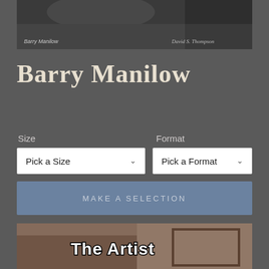[Figure (photo): Black and white close-up photo of Barry Manilow with text 'Barry Manilow' at bottom left and cursive text 'David S. Thompson' at bottom right]
Barry Manilow
Size
Format
Pick a Size
Pick a Format
MAKE A SELECTION
[Figure (photo): Color photo with 'The Artist' text overlay in graffiti-style font, showing a person and framed artwork in background]